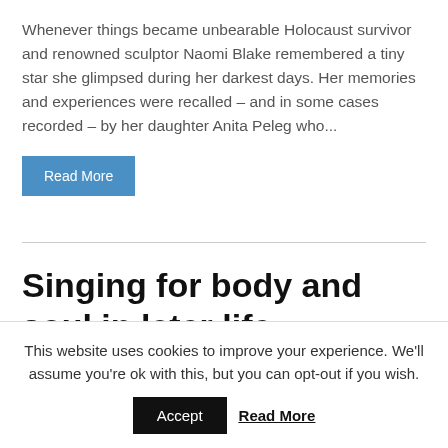Whenever things became unbearable Holocaust survivor and renowned sculptor Naomi Blake remembered a tiny star she glimpsed during her darkest days. Her memories and experiences were recalled – and in some cases recorded  – by her daughter Anita Peleg who...
Read More
Singing for body and soul in later life
This website uses cookies to improve your experience. We'll assume you're ok with this, but you can opt-out if you wish.
Accept  Read More